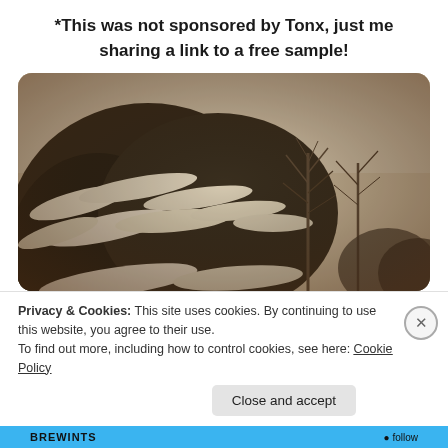*This was not sponsored by Tonx, just me sharing a link to a free sample!
[Figure (photo): Sepia-toned photograph of snow-covered evergreen trees with bare branches visible in the background, with a warm vignette effect]
Privacy & Cookies: This site uses cookies. By continuing to use this website, you agree to their use.
To find out more, including how to control cookies, see here: Cookie Policy
Close and accept